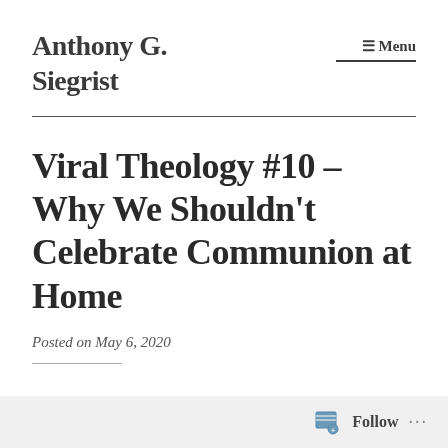Anthony G. Siegrist
≡ Menu
Viral Theology #10 – Why We Shouldn't Celebrate Communion at Home
Posted on May 6, 2020
Follow